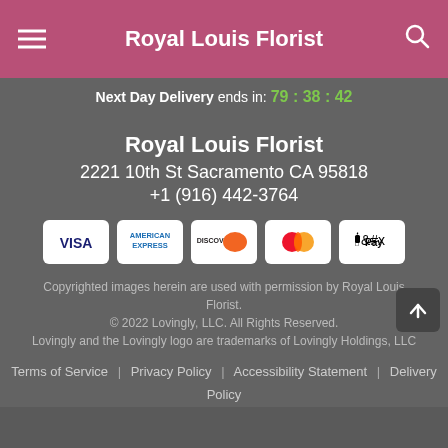Royal Louis Florist
Next Day Delivery ends in: 79 : 38 : 42
Royal Louis Florist
2221 10th St Sacramento CA 95818
+1 (916) 442-3764
[Figure (other): Payment method icons: Visa, American Express, Discover, Mastercard, Apple Pay]
Copyrighted images herein are used with permission by Royal Louis Florist.
© 2022 Lovingly, LLC. All Rights Reserved.
Lovingly and the Lovingly logo are trademarks of Lovingly Holdings, LLC
Terms of Service | Privacy Policy | Accessibility Statement | Delivery Policy